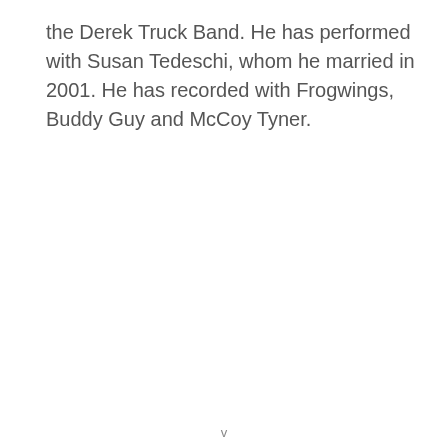the Derek Truck Band. He has performed with Susan Tedeschi, whom he married in 2001. He has recorded with Frogwings, Buddy Guy and McCoy Tyner.
v